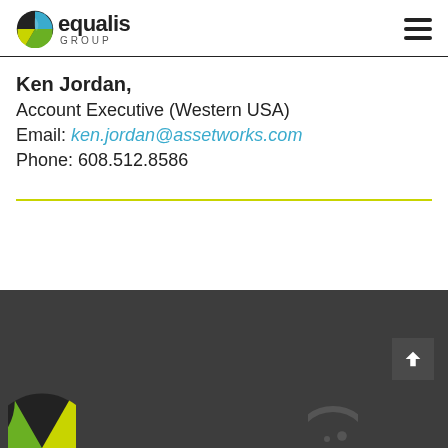[Figure (logo): Equalis Group logo with circular icon and text 'equalis GROUP']
Ken Jordan,
Account Executive (Western USA)
Email: ken.jordan@assetworks.com
Phone: 608.512.8586
[Figure (other): Dark footer bar with scroll-to-top button and partial logo images at bottom]